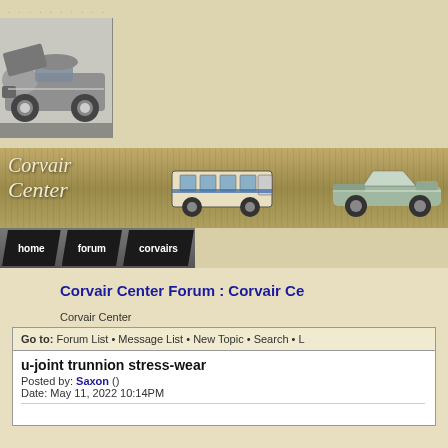[Figure (screenshot): Corvair Center website header with a silver Corvair car photo on the left, Corvair Center logo with a van and convertible on olive/gold banner, navigation bar with home, forum, corvairs links]
Corvair Center Forum : Corvair Ce
Corvair Center
Go to: Forum List • Message List • New Topic • Search • L
u-joint trunnion stress-wear
Posted by: Saxon ()
Date: May 11, 2022 10:14PM